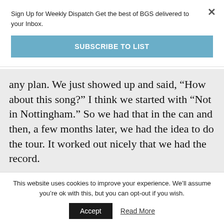Sign Up for Weekly Dispatch Get the best of BGS delivered to your Inbox.
SUBSCRIBE TO LIST
any plan. We just showed up and said, “How about this song?” I think we started with “Not in Nottingham.” So we had that in the can and then, a few months later, we had the idea to do the tour. It worked out nicely that we had the record.
But, yeah, the record is ... I like hearing what
This website uses cookies to improve your experience. We’ll assume you’re ok with this, but you can opt-out if you wish.
Accept
Read More